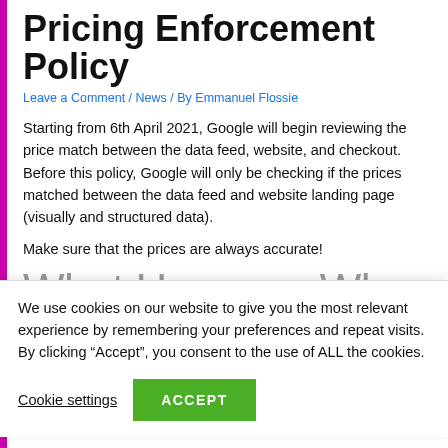Pricing Enforcement Policy
Leave a Comment / News / By Emmanuel Flossie
Starting from 6th April 2021, Google will begin reviewing the price match between the data feed, website, and checkout. Before this policy, Google will only be checking if the prices matched between the data feed and website landing page (visually and structured data).
Make sure that the prices are always accurate!
What Happens When
We use cookies on our website to give you the most relevant experience by remembering your preferences and repeat visits. By clicking “Accept”, you consent to the use of ALL the cookies.
Cookie settings  ACCEPT